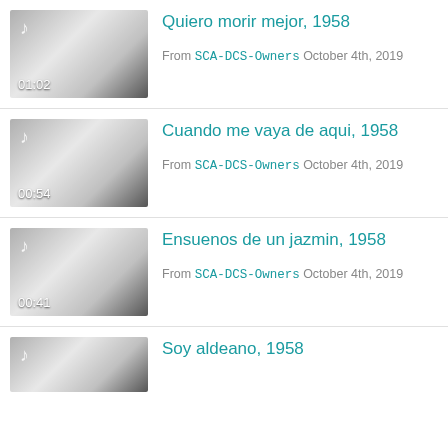[Figure (other): Thumbnail for audio track with music note icon and duration 01:02]
Quiero morir mejor, 1958
From SCA-DCS-Owners October 4th, 2019
[Figure (other): Thumbnail for audio track with music note icon and duration 00:54]
Cuando me vaya de aqui, 1958
From SCA-DCS-Owners October 4th, 2019
[Figure (other): Thumbnail for audio track with music note icon and duration 00:41]
Ensuenos de un jazmin, 1958
From SCA-DCS-Owners October 4th, 2019
[Figure (other): Thumbnail for audio track with music note icon, partially visible]
Soy aldeano, 1958